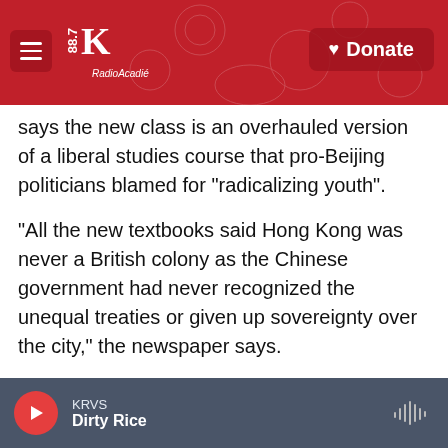KRVS 88.7 RadioAcadié | Donate
says the new class is an overhauled version of a liberal studies course that pro-Beijing politicians blamed for "radicalizing youth".
"All the new textbooks said Hong Kong was never a British colony as the Chinese government had never recognized the unequal treaties or given up sovereignty over the city," the newspaper says.
"The textbooks said the United Nations removed Hong Kong from a list of colonies in 1972 after China made the demand."
Despite re-writing textbooks, Hong Kong's colonial
KRVS | Dirty Rice